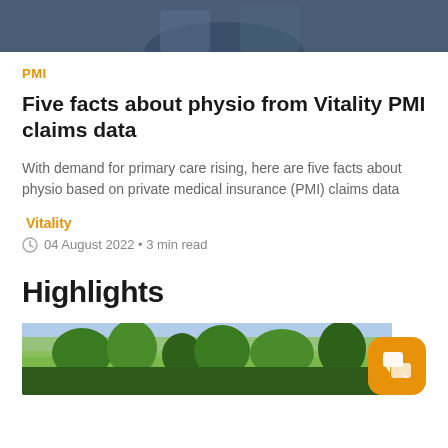[Figure (photo): Top portion of article header photo showing a person, partially cropped]
PMI
Five facts about physio from Vitality PMI claims data
With demand for primary care rising, here are five facts about physio based on private medical insurance (PMI) claims data
Vitality
04 August 2022 • 3 min read
Highlights
[Figure (photo): Outdoor photo showing trees against a sky background]